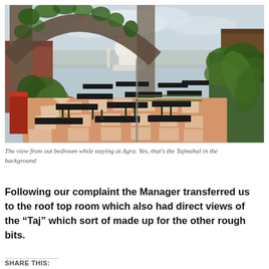[Figure (photo): Rooftop restaurant terrace with black tables and chairs on a checkered terracotta and cream tile floor, framed by a stone arch covered in vines. Green tropical plants on the right. In the background, the Taj Mahal is visible under an overcast sky.]
The view from out bedroom while staying at Agra. Yes, that's the Tajmahal in the background
Following our complaint the Manager transferred us to the roof top room which also had direct views of the “Taj” which sort of made up for the other rough bits.
SHARE THIS: